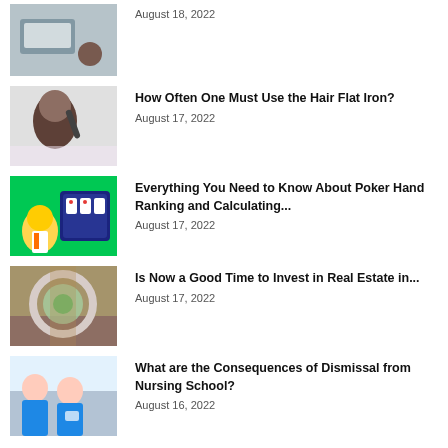[Figure (photo): Hands over a laptop with a coffee cup]
August 18, 2022
How Often One Must Use the Hair Flat Iron?
August 17, 2022
[Figure (photo): Woman styling her hair]
Everything You Need to Know About Poker Hand Ranking and Calculating...
August 17, 2022
[Figure (illustration): Animated man in front of a screen with cards]
Is Now a Good Time to Invest in Real Estate in...
August 17, 2022
[Figure (photo): Circular window looking out at greenery]
What are the Consequences of Dismissal from Nursing School?
August 16, 2022
[Figure (photo): Nursing students sitting together]